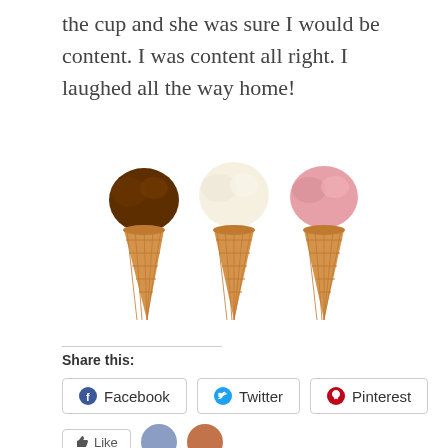the cup and she was sure I would be content. I was content all right. I laughed all the way home!
[Figure (illustration): Three ice cream cones in a row: chocolate (left), vanilla (center), and strawberry (right), each in a waffle cone]
Share this:
Facebook
Twitter
Pinterest